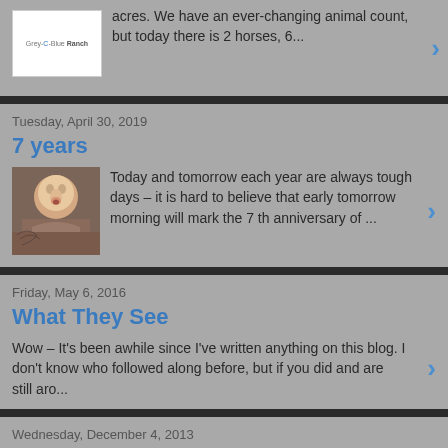acres. We have an ever-changing animal count, but today there is 2 horses, 6...
Tuesday, April 30, 2019
7 years
Today and tomorrow each year are always tough days – it is hard to believe that early tomorrow morning will mark the 7 th anniversary of ...
Friday, May 6, 2016
What They See
Wow – It's been awhile since I've written anything on this blog. I don't know who followed along before, but if you did and are still aro...
Wednesday, December 4, 2013
SteveO's LIGHT